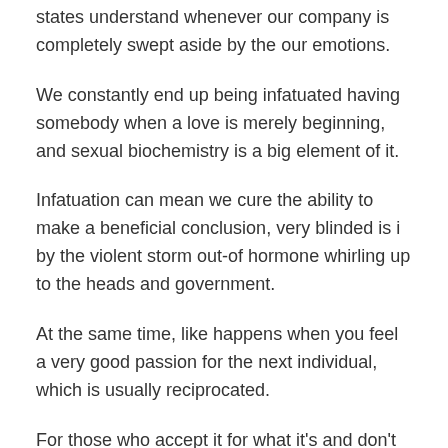states understand whenever our company is completely swept aside by the our emotions.
We constantly end up being infatuated having somebody when a love is merely beginning, and sexual biochemistry is a big element of it.
Infatuation can mean we cure the ability to make a beneficial conclusion, very blinded is i by the violent storm out-of hormone whirling up to the heads and government.
At the same time, like happens when you feel a very good passion for the next individual, which is usually reciprocated.
For those who accept it for what it's and don't